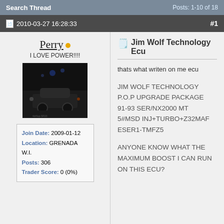Search Thread   Posts: 1-10 of 18
2010-03-27 16:28:33   #1
Perry
I LOVE POWER!!!!
[Figure (photo): Dark photo of a car at night]
Join Date: 2009-01-12
Location: GRENADA W.I.
Posts: 306
Trader Score: 0 (0%)
Jim Wolf Technology Ecu
thats what writen on me ecu
JIM WOLF TECHNOLOGY
P.O.P UPGRADE PACKAGE
91-93 SER/NX2000 MT
5#MSD INJ+TURBO+Z32MAF
ESER1-TMFZ5
ANYONE KNOW WHAT THE MAXIMUM BOOST I CAN RUN ON THIS ECU?